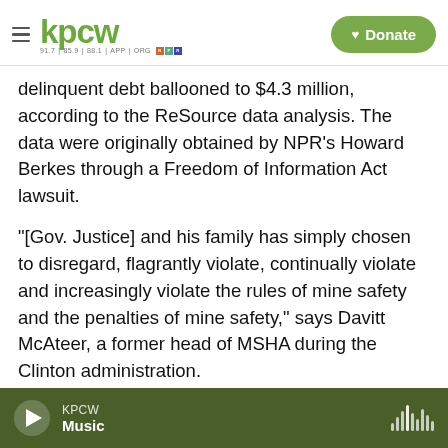KPCW — 91.7 | 85.9 | 88.1 | APP | ORG — NPR — Donate
delinquent debt ballooned to $4.3 million, according to the ReSource data analysis. The data were originally obtained by NPR's Howard Berkes through a Freedom of Information Act lawsuit.
"[Gov. Justice] and his family has simply chosen to disregard, flagrantly violate, continually violate and increasingly violate the rules of mine safety and the penalties of mine safety," says Davitt McAteer, a former head of MSHA during the Clinton administration.
The delinquent penalties were accrued by the
KPCW — Music